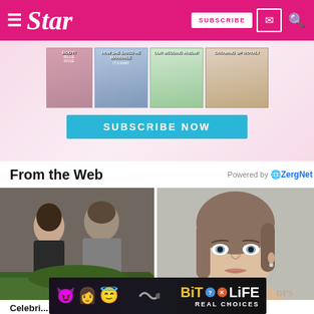Star — SUBSCRIBE
[Figure (infographic): Star magazine subscription advertisement showing 4 magazine covers and a SUBSCRIBE NOW button on pink background]
From the Web
Powered by ZergNet
[Figure (photo): Two people — a woman in a black leather jacket and a man in a grey sweater — appearing to argue outdoors near green hedges]
[Figure (photo): Close-up portrait of a young woman with blue-grey eyes and brown hair pulled back, wearing subtle makeup]
[Figure (infographic): BitLife game advertisement overlay with devil, woman, and angel emojis and REAL CHOICES text]
Celebri... Caught...